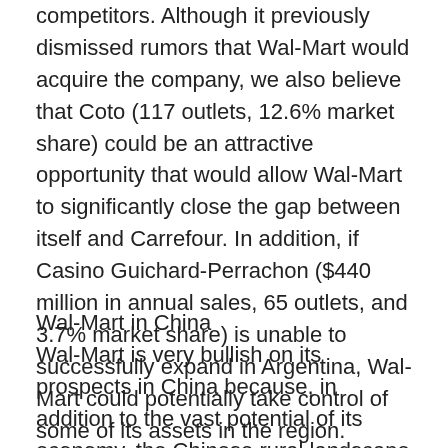competitors. Although it previously dismissed rumors that Wal-Mart would acquire the company, we also believe that Coto (117 outlets, 12.6% market share) could be an attractive opportunity that would allow Wal-Mart to significantly close the gap between itself and Carrefour. In addition, if Casino Guichard-Perrachon ($440 million in annual sales, 65 outlets, and 3.7% market share) is unable to successfully expand in Argentina, Wal-Mart could potentially take control of some of its assets in the region.
Wal-Mart in China
Wal-Mart is very bullish on its prospects in China because, in addition to the vast potential of its economy, the Chinese rural landscape is very similar to that of the United States, where Wal-Mart has achieved the most success. Currently, the majority of Wal-Mart's stores are in first- and second-tier cities, where both population density